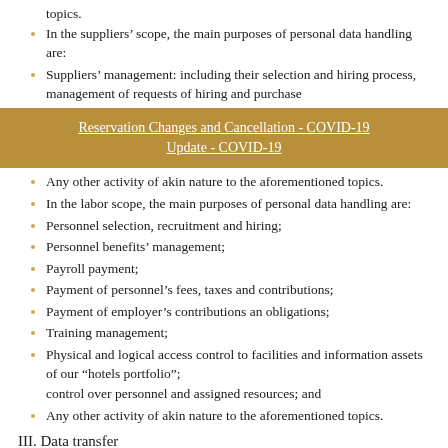topics.
In the suppliers' scope, the main purposes of personal data handling are:
Suppliers' management: including their selection and hiring process, management of requests of hiring and purchase
[Figure (other): Gold/tan banner overlay with underlined white text: Reservation Changes and Cancellation - COVID-19 Update - COVID-19]
Any other activity of akin nature to the aforementioned topics.
In the labor scope, the main purposes of personal data handling are:
Personnel selection, recruitment and hiring;
Personnel benefits' management;
Payroll payment;
Payment of personnel's fees, taxes and contributions;
Payment of employer's contributions an obligations;
Training management;
Physical and logical access control to facilities and information assets of our “hotels portfolio”; control over personnel and assigned resources; and
Any other activity of akin nature to the aforementioned topics.
III. Data transfer
Grupo Hotelero Prisma and its “hotels portfolio” bring to your